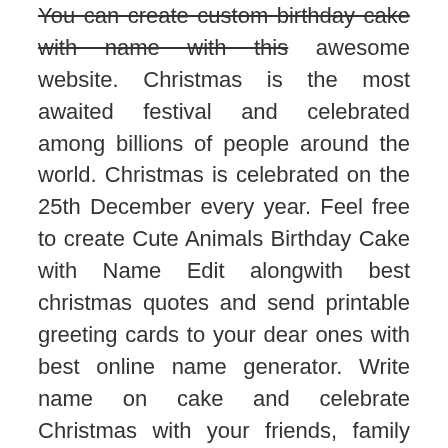You can create custom birthday cake with name with this awesome website. Christmas is the most awaited festival and celebrated among billions of people around the world. Christmas is celebrated on the 25th December every year. Feel free to create Cute Animals Birthday Cake with Name Edit alongwith best christmas quotes and send printable greeting cards to your dear ones with best online name generator. Write name on cake and celebrate Christmas with your friends, family and loved ones in amazing way online in seconds and make them surprise on Christmas. Download awesome birthday cake and send it to your loved ones with their names written. You can also find Birthday Wishes For Sister on this website. Celebrate wedding, love, marriage, Anniversaries of loved one with this simple cake! Write your names on unique Rapunzel Name Birthday Cake images! in quick time Now you can celebrate birthdays of your loved ones by writing name on this beautiful butterfly birthday cake! You can also wish birthday to your strong boys and kids with this kungfu style